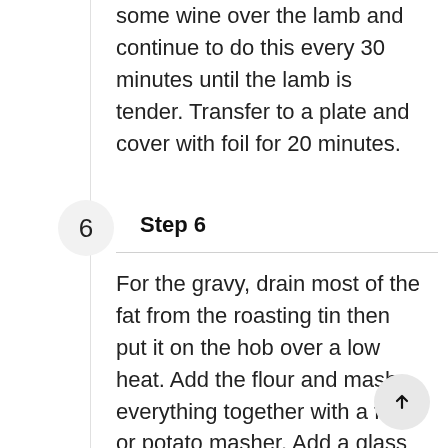some wine over the lamb and continue to do this every 30 minutes until the lamb is tender. Transfer to a plate and cover with foil for 20 minutes.
Step 6
For the gravy, drain most of the fat from the roasting tin then put it on the hob over a low heat. Add the flour and mash everything together with a fork or potato masher. Add a glass of red wine and bring to the boil, to cook off the alcohol. Pour the stock and redcurrant jelly and bring